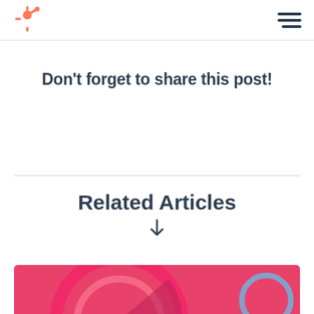HubSpot logo and navigation menu
Don't forget to share this post!
Related Articles
[Figure (illustration): Pink/rose colored graphic with circular design elements at the bottom of the page]